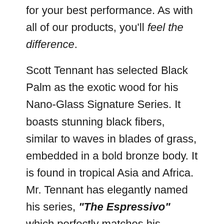for your best performance. As with all of our products, you'll feel the difference.
Scott Tennant has selected Black Palm as the exotic wood for his Nano-Glass Signature Series. It boasts stunning black fibers, similar to waves in blades of grass, embedded in a bold bronze body. It is found in tropical Asia and Africa. Mr. Tennant has elegantly named his series, "The Espressivo" which perfectly matches his exquisite and expressive playing. Now you can prepare to play with the precision and the confidence of the pros to take your playing to the next level.